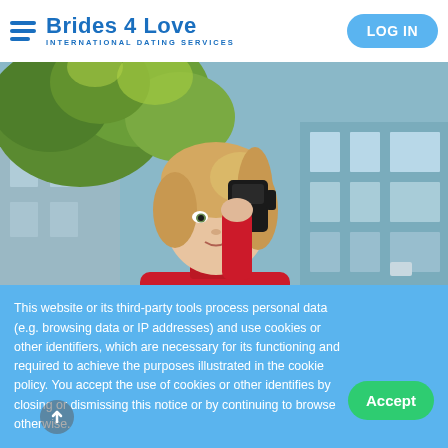Brides 4 Love — INTERNATIONAL DATING SERVICES | LOG IN
[Figure (photo): Young blonde woman in a red turtleneck holding a coffee cup near her face, with green trees and a building in the background]
This website or its third-party tools process personal data (e.g. browsing data or IP addresses) and use cookies or other identifiers, which are necessary for its functioning and required to achieve the purposes illustrated in the cookie policy. You accept the use of cookies or other identifies by closing or dismissing this notice or by continuing to browse otherwise.